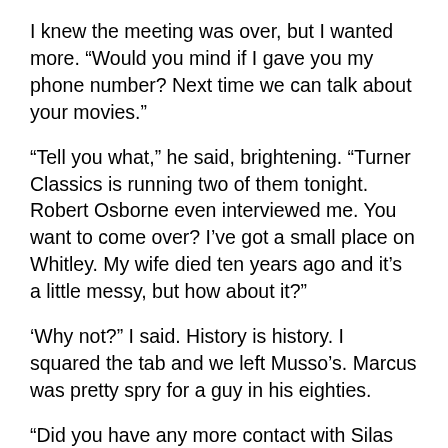I knew the meeting was over, but I wanted more. “Would you mind if I gave you my phone number? Next time we can talk about your movies.”
“Tell you what,” he said, brightening. “Turner Classics is running two of them tonight. Robert Osborne even interviewed me. You want to come over? I’ve got a small place on Whitley. My wife died ten years ago and it’s a little messy, but how about it?”
‘Why not?” I said. History is history. I squared the tab and we left Musso’s. Marcus was pretty spry for a guy in his eighties.
“Did you have any more contact with Silas Raymond after that?” I asked as we walked.
“None,” Marcus said. “I think he held a bunch of